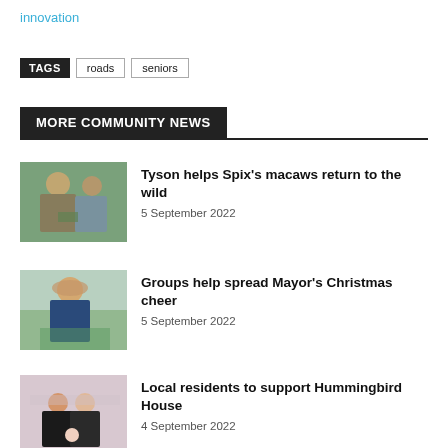innovation
TAGS  roads  seniors
MORE COMMUNITY NEWS
[Figure (photo): Two people examining a bird in a greenhouse setting]
Tyson helps Spix's macaws return to the wild
5 September 2022
[Figure (photo): Person wearing a hat standing in a garden or park]
Groups help spread Mayor's Christmas cheer
5 September 2022
[Figure (photo): Family sitting together with a baby]
Local residents to support Hummingbird House
4 September 2022